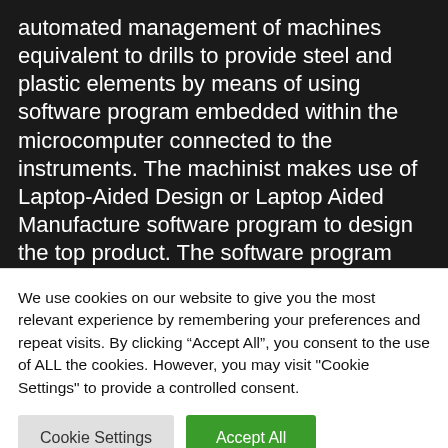automated management of machines equivalent to drills to provide steel and plastic elements by means of using software program embedded within the microcomputer connected to the instruments. The machinist makes use of Laptop-Aided Design or Laptop Aided Manufacture software program to design the top product. The software program interprets it into G-code which is interpreted by the microcomputer to chop the half on a number of axes to chop the specified workpiece. CNC machines lower and transfer the workpiece as
We use cookies on our website to give you the most relevant experience by remembering your preferences and repeat visits. By clicking “Accept All”, you consent to the use of ALL the cookies. However, you may visit "Cookie Settings" to provide a controlled consent.